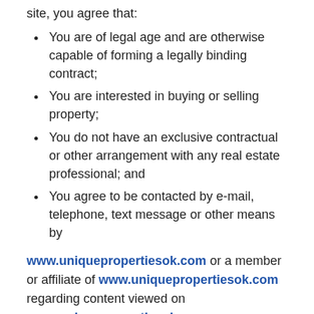site, you agree that:
You are of legal age and are otherwise capable of forming a legally binding contract;
You are interested in buying or selling property;
You do not have an exclusive contractual or other arrangement with any real estate professional; and
You agree to be contacted by e-mail, telephone, text message or other means by
www.uniquepropertiesok.com or a member or affiliate of www.uniquepropertiesok.com regarding content viewed on www.uniquepropertiesok.com
Links to Other Sites
From time to time, www.uniquepropertiesok.com may include on its site third party service providers